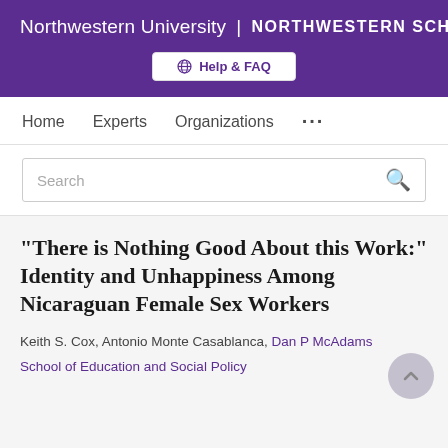Northwestern University | NORTHWESTERN SCHOLARS
Help & FAQ
Home   Experts   Organizations   ...
Search
"There is Nothing Good About this Work:" Identity and Unhappiness Among Nicaraguan Female Sex Workers
Keith S. Cox, Antonio Monte Casablanca, Dan P McAdams
School of Education and Social Policy